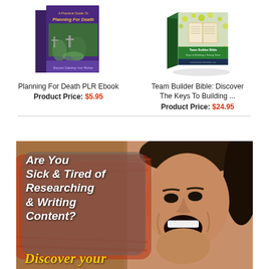[Figure (illustration): Book cover: Planning For Death PLR Ebook - purple cover with cemetery/garden image]
Planning For Death PLR Ebook
Product Price: $5.95
[Figure (illustration): Book cover: Team Builder Bible - green/yellow dotted cover with open book image]
Team Builder Bible: Discover The Keys To Building ...
Product Price: $24.95
[Figure (illustration): Advertisement banner: 'Are You Sick & Tired of Researching & Writing Content? Discover your...' with angry woman photo]